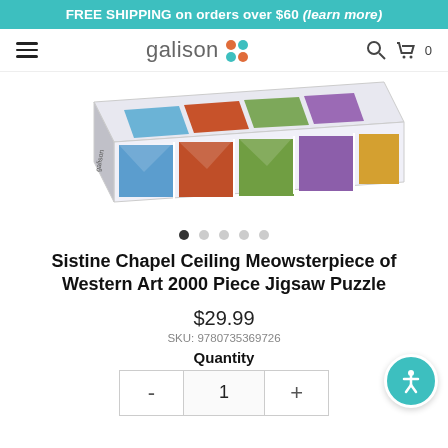FREE SHIPPING on orders over $60 (learn more)
[Figure (screenshot): Galison website navigation bar with hamburger menu, Galison logo with colorful dots, search icon, and cart icon with 0 items]
[Figure (photo): Product image of Sistine Chapel Ceiling Meowsterpiece of Western Art 2000 Piece Jigsaw Puzzle box shown at an angle with colorful artwork panels visible]
● ○ ○ ○ ○
Sistine Chapel Ceiling Meowsterpiece of Western Art 2000 Piece Jigsaw Puzzle
$29.99
SKU: 9780735369726
Quantity
- 1 +